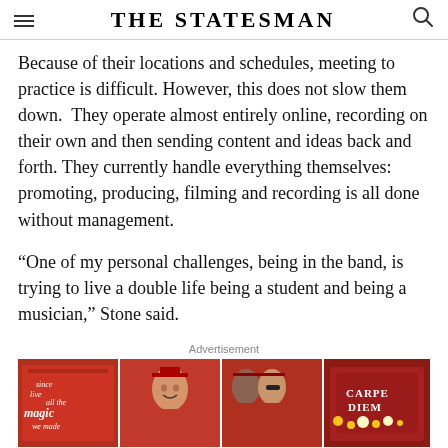THE STATESMAN
Because of their locations and schedules, meeting to practice is difficult. However, this does not slow them down. They operate almost entirely online, recording on their own and then sending content and ideas back and forth. They currently handle everything themselves: promoting, producing, filming and recording is all done without management.
“One of my personal challenges, being in the band, is trying to live a double life being a student and being a musician,” Stone said.
Advertisement
[Figure (photo): Advertisement image showing four panels of graduation photos: decorated mortarboard caps and smiling graduates in red caps and gowns including one cap reading 'CARPE DIEM']